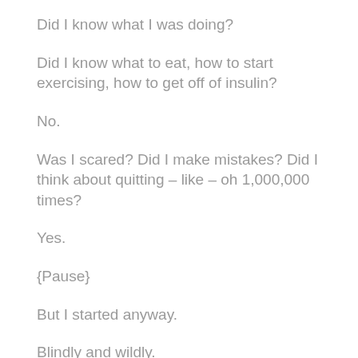Did I know what I was doing?
Did I know what to eat, how to start exercising, how to get off of insulin?
No.
Was I scared? Did I make mistakes? Did I think about quitting – like – oh 1,000,000 times?
Yes.
{Pause}
But I started anyway.
Blindly and wildly.